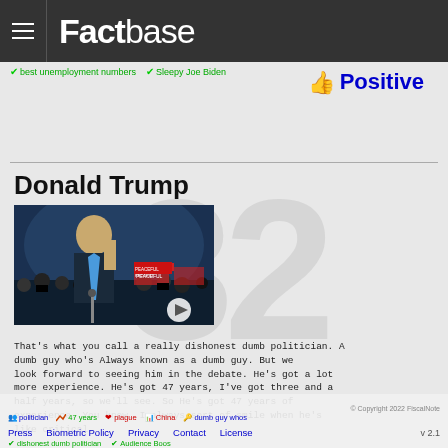Factbase
best unemployment numbers   Sleepy Joe Biden
👍 Positive
Donald Trump
[Figure (photo): Video thumbnail of Donald Trump speaking at a rally with crowd in background, play button visible]
That's what you call a really dishonest dumb politician. A dumb guy who's Always known as a dumb guy. But we look forward to seeing him in the debate. He's got a lot more experience. He's got 47 years, I've got three and a half years, so we'll see. So He's got 47 years of experience. You know, I always sort of smile when he's like critical.
© Copyright 2022 FiscalNote  politician  47 years  plague  China  dumb guy whos  Press  Biometric Policy  Privacy  Contact  License  v 2.1  dishonest dumb politician  Audience Boos